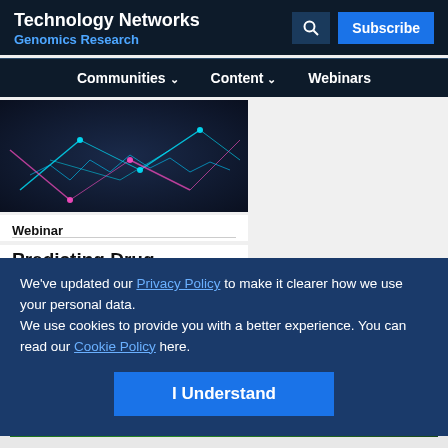Technology Networks
Genomics Research
Communities  Content  Webinars
[Figure (illustration): Abstract digital network visualization with glowing cyan and pink lines on dark background]
Webinar
Predicting Drug Response Using Multiomics Data
We've updated our Privacy Policy to make it clearer how we use your personal data.
We use cookies to provide you with a better experience. You can read our Cookie Policy here.
I Understand
Advertisement
[Figure (illustration): Bio-Rad advertisement banner: Automate with confidence. Green background with lab equipment grid icon and BIO-RAD logo badge.]